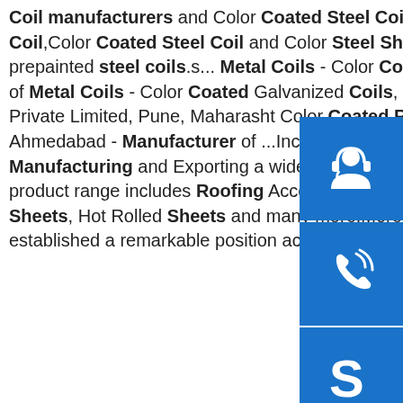Steel Coil,Steel Sheet As a China Hot Rolled Steel Coil manufacturers and Color Coated Steel Coil Sheet Suppliers,we are offer Hot Rolled Steel Coil,Color Coated Steel Coil and Color Steel Sheet implementing strict quality control for the prepainted steel coils.s... Metal Coils - Color Coated Coils Manufacturer from PuneManufacturer of Metal Coils - Color Coated Coil, Galvanized Coils, GP Coils and Color Coil offered by Manmohan Ispat Private Limited, Pune, Maharashtra. Color Coated Roofing Sheet ...sp.info National Steel Processor, Ahmedabad - Manufacturer of ...Incepted in the year 2010, we, National Steel Processor, are engaged in Manufacturing and Exporting a wide range of quality Coated Sheet & Roofing Accessories. Our product range includes Roofing Accessories, Galvalume Sheet, Corrugated Sheets, Cold Rolled Sheets, Hot Rolled Sheets and many more.Moreover, we are a fast growing organization that has established a remarkable position across …
[Figure (infographic): Three blue square buttons stacked vertically on the right side: a customer service/headset icon, a phone/call icon, and a Skype icon.]